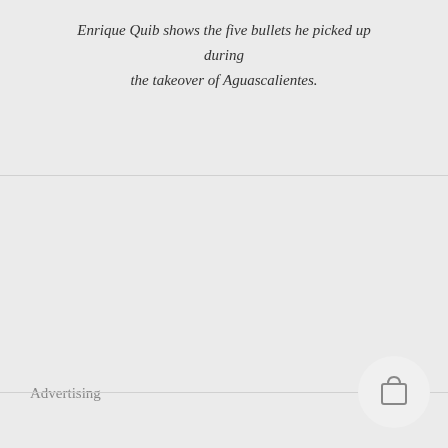Enrique Quib shows the five bullets he picked up during the takeover of Aguascalientes.
[Figure (other): Advertising placeholder box, light grey background]
[Figure (other): Shopping bag icon button in circular grey background, bottom right corner]